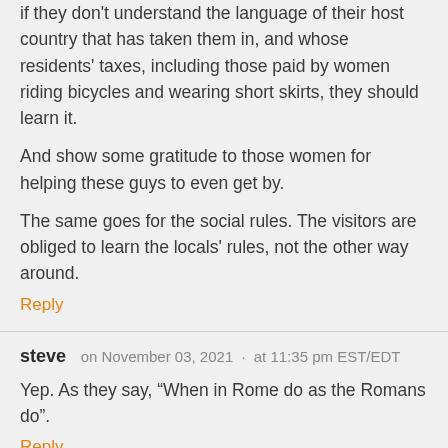if they don't understand the language of their host country that has taken them in, and whose residents' taxes, including those paid by women riding bicycles and wearing short skirts, they should learn it.
And show some gratitude to those women for helping these guys to even get by.
The same goes for the social rules. The visitors are obliged to learn the locals' rules, not the other way around.
Reply
steve   on November 03, 2021  ·  at 11:35 pm EST/EDT
Yep. As they say, “When in Rome do as the Romans do”.
Reply
Steve   on November 03, 2021  ·  at 11:53 pm EST/EDT
When in Rome Saker.
The guys in the video would have watched 100s of hours of western TV and will have no illusions as to how women in the